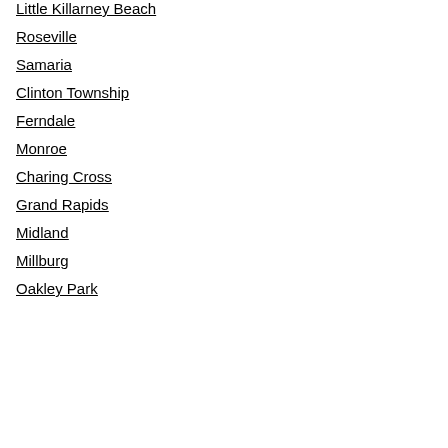Little Killarney Beach
Roseville
Samaria
Clinton Township
Ferndale
Monroe
Charing Cross
Grand Rapids
Midland
Millburg
Oakley Park